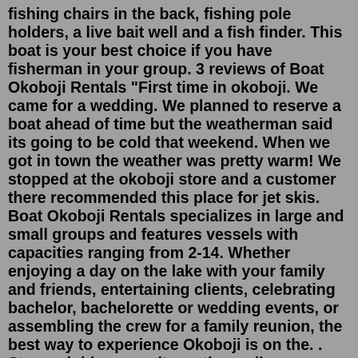fishing chairs in the back, fishing pole holders, a live bait well and a fish finder. This boat is your best choice if you have fisherman in your group. 3 reviews of Boat Okoboji Rentals "First time in okoboji. We came for a wedding. We planned to reserve a boat ahead of time but the weatherman said its going to be cold that weekend. When we got in town the weather was pretty warm! We stopped at the okoboji store and a customer there recommended this place for jet skis. Boat Okoboji Rentals specializes in large and small groups and features vessels with capacities ranging from 2-14. Whether enjoying a day on the lake with your family and friends, entertaining clients, celebrating bachelor, bachelorette or wedding events, or assembling the crew for a family reunion, the best way to experience Okoboji is on the. . Strongyloides parasites, other soil-transmitted ...• One of the biggest tourist attractions at Lake Okoboji is Arnolds Park, "the oldest amusement park west of the Mississippi". It opened in 1889. It opened in 1889. • North Overlook Beach is located at the state's largest lake